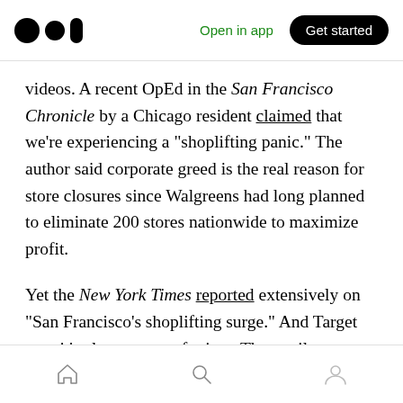Medium logo | Open in app | Get started
videos. A recent OpEd in the San Francisco Chronicle by a Chicago resident claimed that we're experiencing a “shoplifting panic.” The author said corporate greed is the real reason for store closures since Walgreens had long planned to eliminate 200 stores nationwide to maximize profit.
Yet the New York Times reported extensively on “San Francisco’s shoplifting surge.” And Target says it’s also a target of crime. The retailer announced earlier this year that San Francisco
Home | Search | Profile